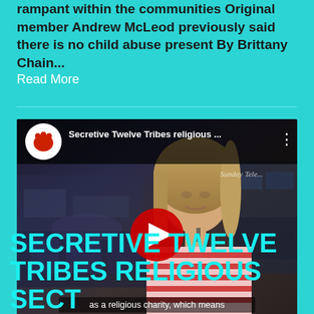rampant within the communities Original member Andrew McLeod previously said there is no child abuse present By Brittany Chain...
Read More
[Figure (screenshot): YouTube video thumbnail showing a woman in a red and white striped shirt being interviewed, with YouTube overlay bar showing 'Secretive Twelve Tribes religious ...' title and a red play button in the center. Subtitle text reads 'as a religious charity, which means'. Watermark 'Sunday Tele...' visible top right.]
SECRETIVE TWELVE TRIBES RELIGIOUS SECT